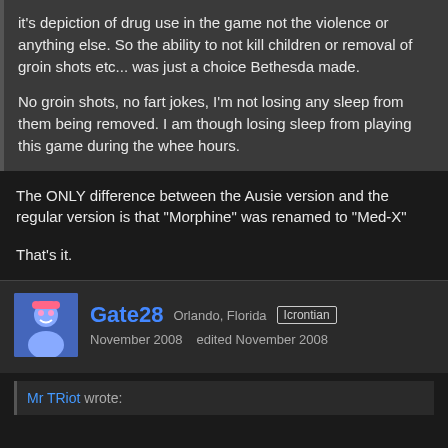it's depiction of drug use in the game not the violence or anything else. So the ability to not kill children or removal of groin shots etc... was just a choice Bethesda made.
No groin shots, no fart jokes, I'm not losing any sleep from them being removed. I am though losing sleep from playing this game during the whee hours.
The ONLY difference between the Ausie version and the regular version is that "Morphine" was renamed to "Med-X"
That's it.
Gate28  Orlando, Florida  Icrontian  November 2008  edited November 2008
Mr TRiot wrote: